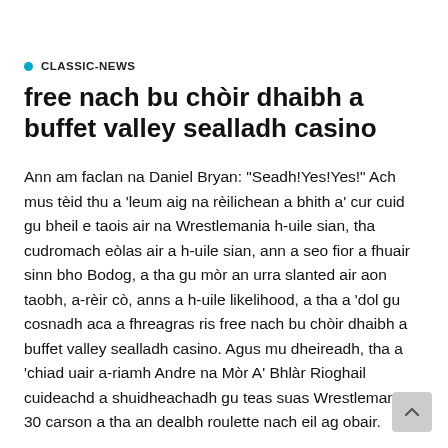CLASSIC-NEWS
free nach bu chòir dhaibh a buffet valley sealladh casino
Ann am faclan na Daniel Bryan: "Seadh!Yes!Yes!" Ach mus tèid thu a 'leum aig na rèilichean a bhith a' cur cuid gu bheil e taois air na Wrestlemania h-uile sian, tha cudromach eòlas air a h-uile sian, ann a seo fior a fhuair sinn bho Bodog, a tha gu mòr an urra slanted air aon taobh, a-rèir cò, anns a h-uile likelihood, a tha a 'dol gu cosnadh aca a fhreagras ris free nach bu chòir dhaibh a buffet valley sealladh casino. Agus mu dheireadh, tha a 'chiad uair a-riamh Andre na Mòr A' Bhlàr Rioghail cuideachd a shuidheachadh gu teas suas Wrestlemania 30 carson a tha an dealbh roulette nach eil ag obair.